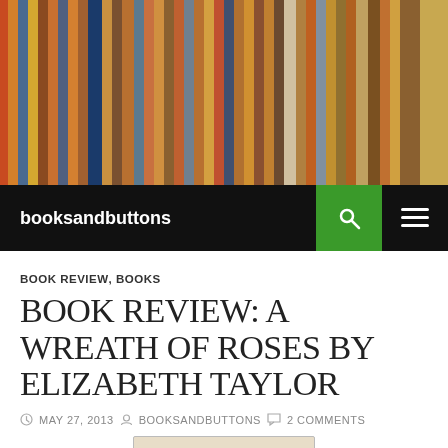[Figure (photo): Header photo of a shelf of books with colorful spines including a blue book labeled TRUMAN]
booksandbuttons
BOOK REVIEW, BOOKS
BOOK REVIEW: A WREATH OF ROSES BY ELIZABETH TAYLOR
MAY 27, 2013  BOOKSANDBUTTONS  2 COMMENTS
[Figure (photo): Photo of the book cover 'A Wreath of Roses' showing cursive title text and pink flowers at bottom]